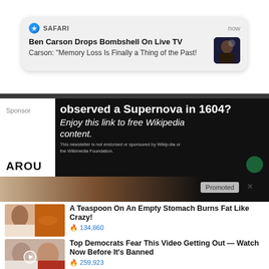[Figure (screenshot): Safari push notification card showing: SAFARI | now | Bold title: 'Ben Carson Drops Bombshell On Live TV' | Subtitle: 'Carson: "Memory Loss Is Finally a Thing of the Past!"' | Thumbnail of Ben Carson on right]
[Figure (screenshot): Wikipedia sponsored ad with dark background showing partial text: '...observed a Supernova in 1604? Enjoy this link to free Wikipedia content. This newsletter is not endorsed or sponsored by Wikipedia or the Wikimedia Foundation.' with 'AROU' text at bottom left and 'Sponsor' label]
[Figure (screenshot): Promoted content banner with blurred background image and 'Promoted X' badge]
[Figure (screenshot): Ad item 1: thumbnail image of woman and spices, text: 'A Teaspoon On An Empty Stomach Burns Fat Like Crazy!' with fire icon and 134,860 engagement count]
[Figure (screenshot): Ad item 2: thumbnail image of Trump and Melania, text: 'Top Democrats Fear This Video Getting Out — Watch Now Before It's Banned' with fire icon and 259,923 engagement count]